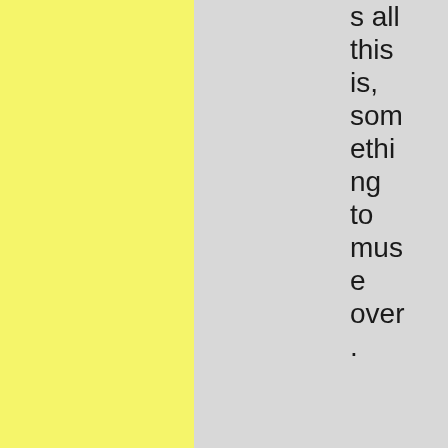s all this is, something to muse over.
The Machine needs food. Brother says